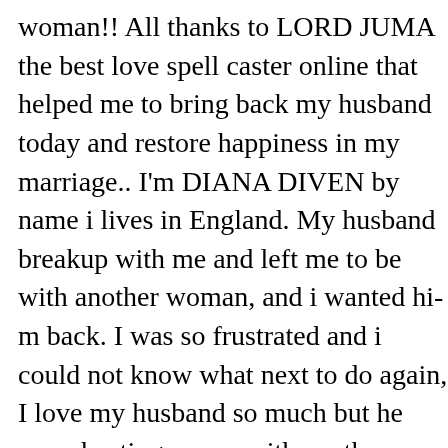woman!! All thanks to LORD JUMA the best love spell caster online that helped me to bring back my husband today and restore happiness in my marriage.. I'm DIANA DIVEN by name i lives in England. My husband breakup with me and left me to be with another woman, and i wanted him back. I was so frustrated and i could not know what next to do again, I love my husband so much but he was cheating on me with another woman and this makes him break up with me so that he can be able to get married to the other lady and this lady i think use witchcraft on my husband to make him hate me and my kids and this was so critical and uncalled-for, I cry all day and night for God to send me a helper to get